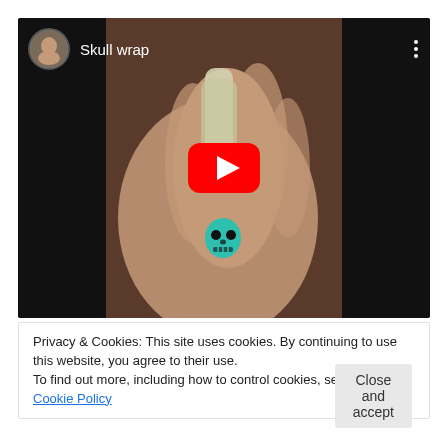[Figure (screenshot): YouTube video thumbnail showing a hand holding a skull wrap jewelry piece with a teal skull bead. Title reads 'Skull wrap'. Large red YouTube play button overlay in center. Small circular avatar of a woman in top left corner. Three-dot menu icon in top right.]
Privacy & Cookies: This site uses cookies. By continuing to use this website, you agree to their use.
To find out more, including how to control cookies, see here: Cookie Policy
Close and accept